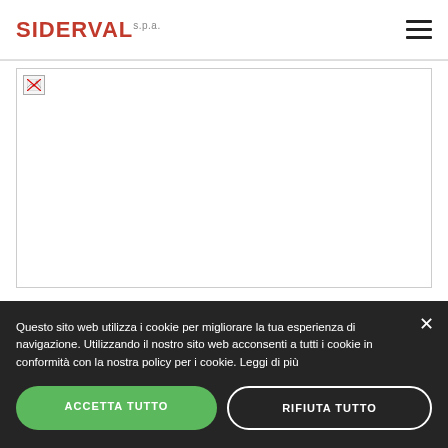SIDERVAL s.p.a.
[Figure (photo): Broken image placeholder in a bordered box, representing a content image that failed to load on the Siderval website.]
Questo sito web utilizza i cookie per migliorare la tua esperienza di navigazione. Utilizzando il nostro sito web acconsenti a tutti i cookie in conformità con la nostra policy per i cookie. Leggi di più
ACCETTA TUTTO
RIFIUTA TUTTO